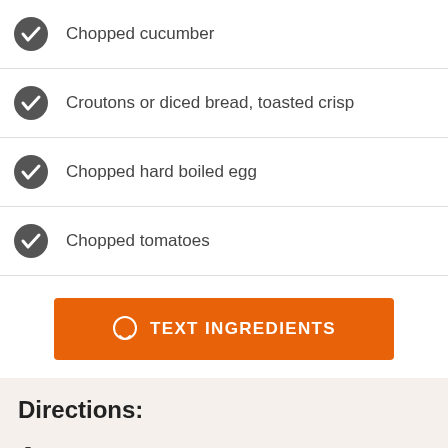Chopped cucumber
Croutons or diced bread, toasted crisp
Chopped hard boiled egg
Chopped tomatoes
[Figure (other): Orange button with chat bubble icon and text TEXT INGREDIENTS]
Directions:
Put the bread in a bowl and add water to cover.